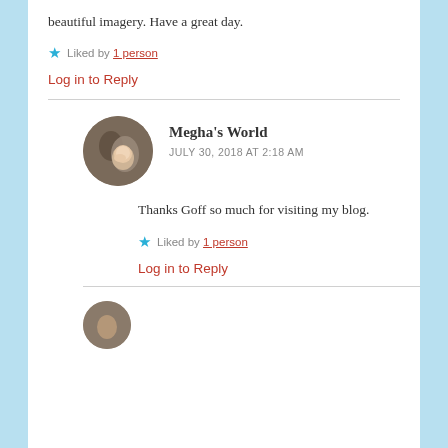beautiful imagery. Have a great day.
Liked by 1 person
Log in to Reply
Megha's World
JULY 30, 2018 AT 2:18 AM
Thanks Goff so much for visiting my blog.
Liked by 1 person
Log in to Reply